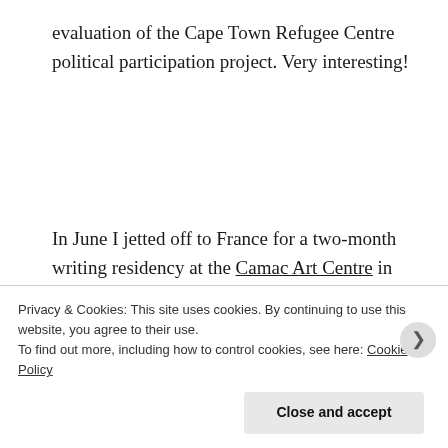evaluation of the Cape Town Refugee Centre political participation project. Very interesting!
In June I jetted off to France for a two-month writing residency at the Camac Art Centre in Marnay Sur Seine. As you’ll have seen from some of my previous blogs, this was generously sponsored by my friends, family, and the French Consulate in Cape Town. I had an amazing time
Privacy & Cookies: This site uses cookies. By continuing to use this website, you agree to their use.
To find out more, including how to control cookies, see here: Cookie Policy
Close and accept